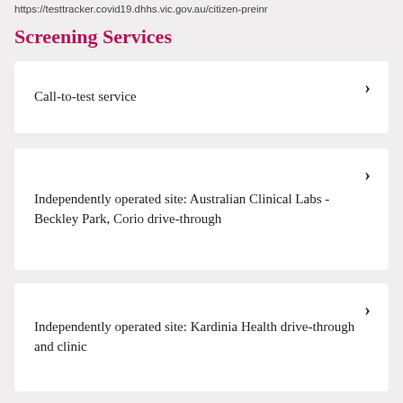https://testtracker.covid19.dhhs.vic.gov.au/citizen-preinr
Screening Services
Call-to-test service
Independently operated site: Australian Clinical Labs - Beckley Park, Corio drive-through
Independently operated site: Kardinia Health drive-through and clinic
Independently operated site: 4Cute Pathology